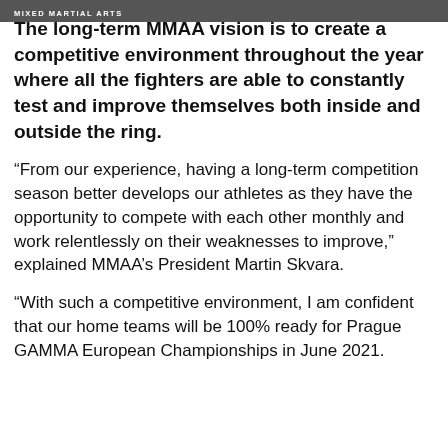MIXED MARTIAL ARTS
The long-term MMAA vision is to create a competitive environment throughout the year where all the fighters are able to constantly test and improve themselves both inside and outside the ring.
“From our experience, having a long-term competition season better develops our athletes as they have the opportunity to compete with each other monthly and work relentlessly on their weaknesses to improve,” explained MMAA’s President Martin Skvara.
“With such a competitive environment, I am confident that our home teams will be 100% ready for Prague GAMMA European Championships in June 2021.